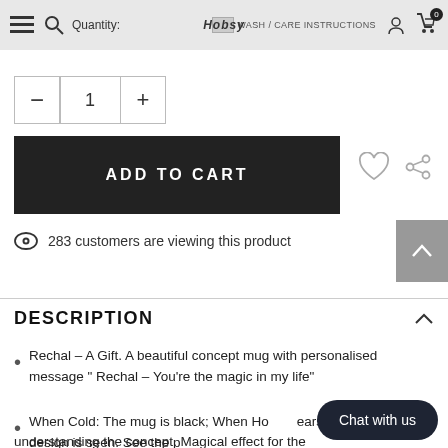Quantity: WASH / CARE INSTRUCTIONS
1
ADD TO CART
283 customers are viewing this product
DESCRIPTION
Rechal – A Gift. A beautiful concept mug with personalised message " Rechal – You're the magic in my life"
When Cold: The mug is black; When Ho... ears and the entire design is seen. See the p... understanding the concept. Magical effect for the recipient. On
Chat with us